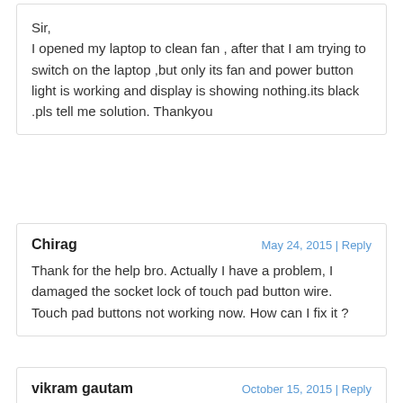Sir,
I opened my laptop to clean fan , after that I am trying to switch on the laptop ,but only its fan and power button light is working and display is showing nothing.its black .pls tell me solution. Thankyou
Chirag
May 24, 2015 | Reply
Thank for the help bro. Actually I have a problem, I damaged the socket lock of touch pad button wire. Touch pad buttons not working now. How can I fix it ?
vikram gautam
October 15, 2015 | Reply